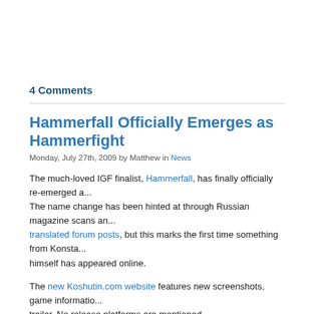4 Comments
Hammerfall Officially Emerges as Hammerfight
Monday, July 27th, 2009 by Matthew in News
The much-loved IGF finalist, Hammerfall, has finally officially re-emerged a... The name change has been hinted at through Russian magazine scans an... translated forum posts, but this marks the first time something from Konsta... himself has appeared online.
The new Koshutin.com website features new screenshots, game informatio... trailer. No release platforms are mentioned. Hammerfight/Hammerfall is aw... currently #3 on the all-time charts here at Fun-Motion–and I can't wait to se... of polish has done for the game!
The website speed is quite slow, so I've mirrored the new trailer here: